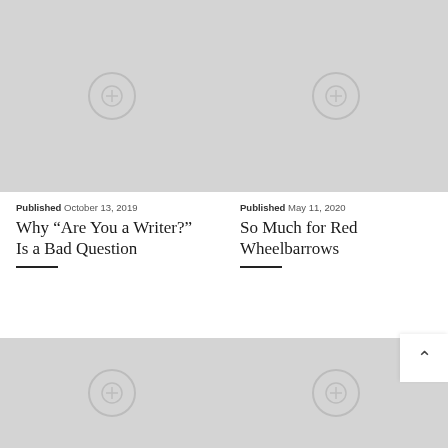[Figure (photo): Gray placeholder image for article card top-left]
Published October 13, 2019
Why “Are You a Writer?” Is a Bad Question
[Figure (photo): Gray placeholder image for article card top-right]
Published May 11, 2020
So Much for Red Wheelbarrows
[Figure (photo): Gray placeholder image for article card bottom-left]
[Figure (photo): Gray placeholder image for article card bottom-right]